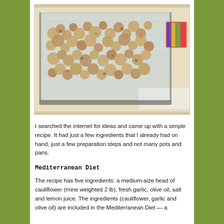[Figure (photo): A baking sheet lined with aluminum foil covered with roasted cauliflower florets, with a colorful potholder visible on the right side.]
I searched the internet for ideas and came up with a simple recipe. It had just a few ingredients that I already had on hand, just a few preparation steps and not many pots and pans.
Mediterranean Diet
The recipe has five ingredients: a medium-size head of cauliflower (mine weighted 2 lb), fresh garlic, olive oil, salt and lemon juice. The ingredients (cauliflower, garlic and olive oil) are included in the Mediterranean Diet  — a